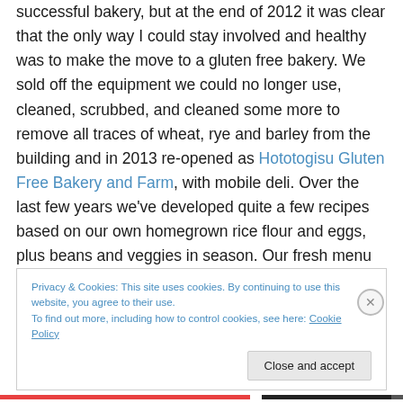successful bakery, but at the end of 2012 it was clear that the only way I could stay involved and healthy was to make the move to a gluten free bakery. We sold off the equipment we could no longer use, cleaned, scrubbed, and cleaned some more to remove all traces of wheat, rye and barley from the building and in 2013 re-opened as Hototogisu Gluten Free Bakery and Farm, with mobile deli. Over the last few years we've developed quite a few recipes based on our own homegrown rice flour and eggs, plus beans and veggies in season. Our fresh menu changes with the seasons (and our moods), and we serve
Privacy & Cookies: This site uses cookies. By continuing to use this website, you agree to their use.
To find out more, including how to control cookies, see here: Cookie Policy